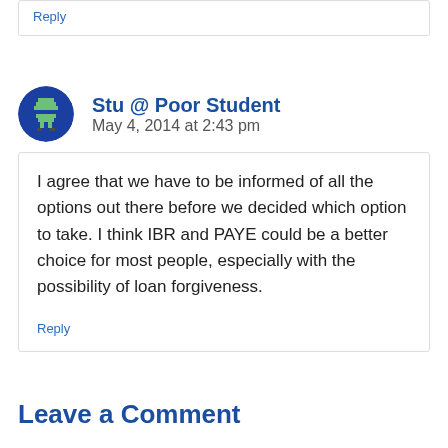Reply
Stu @ Poor Student
May 4, 2014 at 2:43 pm
I agree that we have to be informed of all the options out there before we decided which option to take. I think IBR and PAYE could be a better choice for most people, especially with the possibility of loan forgiveness.
Reply
Leave a Comment